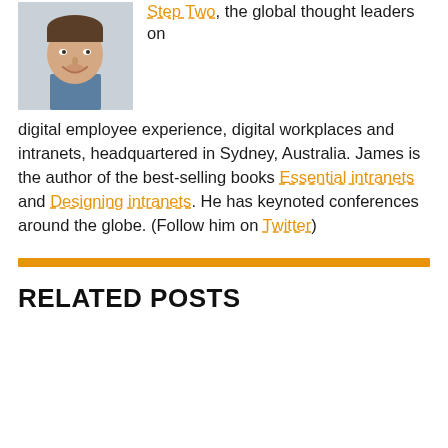[Figure (photo): Headshot photo of a smiling man in a suit jacket]
Step Two, the global thought leaders on digital employee experience, digital workplaces and intranets, headquartered in Sydney, Australia. James is the author of the best-selling books Essential intranets and Designing intranets. He has keynoted conferences around the globe. (Follow him on Twitter)
RELATED POSTS